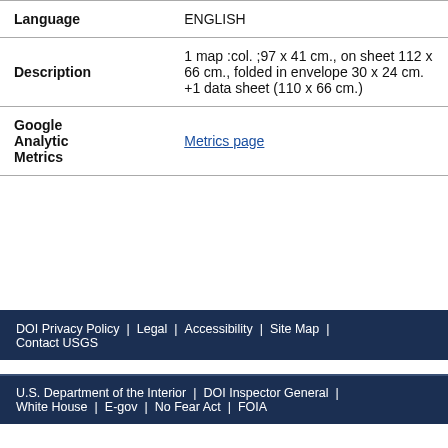| Field | Value |
| --- | --- |
| Language | ENGLISH |
| Description | 1 map :col. ;97 x 41 cm., on sheet 112 x 66 cm., folded in envelope 30 x 24 cm. +1 data sheet (110 x 66 cm.) |
| Google Analytic Metrics | Metrics page |
DOI Privacy Policy | Legal | Accessibility | Site Map | Contact USGS
U.S. Department of the Interior | DOI Inspector General | White House | E-gov | No Fear Act | FOIA